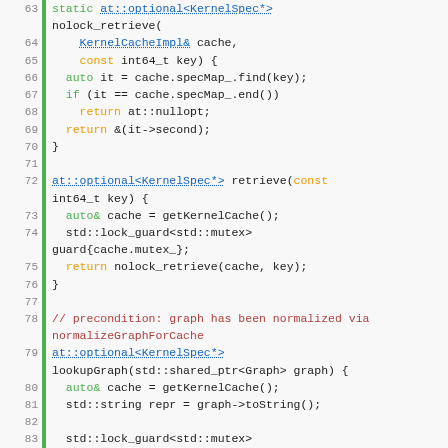[Figure (screenshot): C++ source code snippet showing lines 63–91 of a file. Code includes functions nolock_retrieve, retrieve, and lookupGraph within namespace fuser and jit. Syntax highlighting shows keywords in green/orange, types in blue/orange-red, and comments in dark red.]